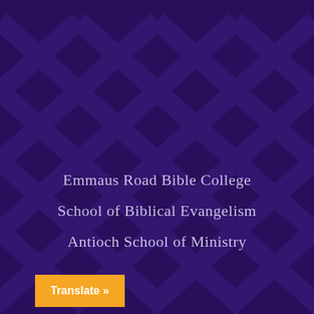[Figure (illustration): Dark purple background with repeating chevron/arrow pattern in slightly lighter purple tones, creating a geometric textured background]
Emmaus Road Bible College
School of Biblical Evangelism
Antioch School of Ministry
Translate »